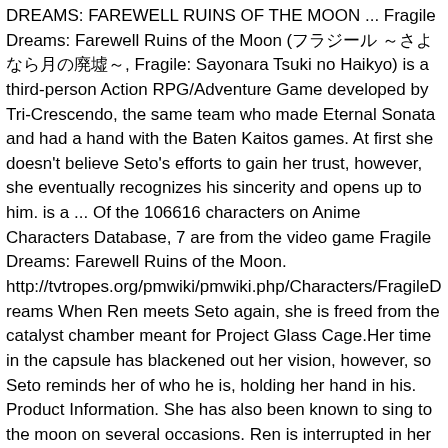DREAMS: FAREWELL RUINS OF THE MOON ... Fragile Dreams: Farewell Ruins of the Moon (フラジール ～さよなら月の廃墟～, Fragile: Sayonara Tsuki no Haikyo) is a third-person Action RPG/Adventure Game developed by Tri-Crescendo, the same team who made Eternal Sonata and had a hand with the Baten Kaitos games. At first she doesn't believe Seto's efforts to gain her trust, however, she eventually recognizes his sincerity and opens up to him. is a ... Of the 106616 characters on Anime Characters Database, 7 are from the video game Fragile Dreams: Farewell Ruins of the Moon. http://tvtropes.org/pmwiki/pmwiki.php/Characters/FragileDreams When Ren meets Seto again, she is freed from the catalyst chamber meant for Project Glass Cage.Her time in the capsule has blackened out her vision, however, so Seto reminds her of who he is, holding her hand in his. Product Information. She has also been known to sing to the moon on several occasions. Ren is interrupted in her own introduction when a voice over an intercom tells her to return. 1 Character Info 2 Personality 3 Appearance 3.1 Game 3.2 Manga 4 Story 5